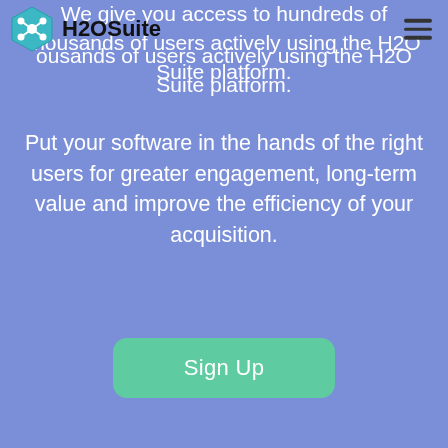H2OSuite
We give you access to hundreds of thousands of users actively using the H2O Suite platform.
Put your software in the hands of the right users for greater engagement, long-term value and improve the efficiency of your acquisition.
Sign Up